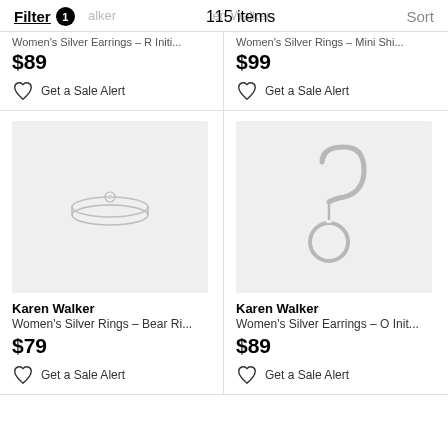Filter 1  115 items  Sort
Women's Silver Earrings – R Initi...
$89
Get a Sale Alert
Women's Silver Rings – Mini Shi...
$99
Get a Sale Alert
[Figure (photo): Silver ring with small round detail on a light gray background]
Karen Walker
Women's Silver Rings – Bear Ri...
$79
Get a Sale Alert
[Figure (photo): Silver hoop earring with circular charm on a light gray background]
Karen Walker
Women's Silver Earrings – O Init...
$89
Get a Sale Alert